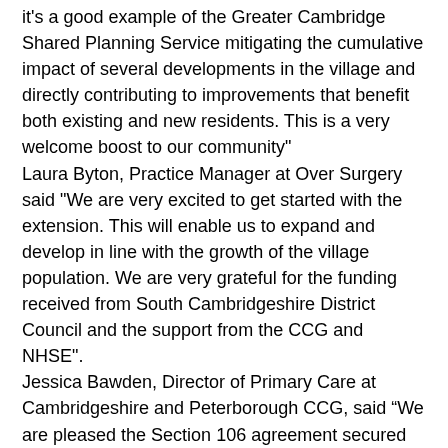it's a good example of the Greater Cambridge Shared Planning Service mitigating the cumulative impact of several developments in the village and directly contributing to improvements that benefit both existing and new residents. This is a very welcome boost to our community"
Laura Byton, Practice Manager at Over Surgery said "We are very excited to get started with the extension. This will enable us to expand and develop in line with the growth of the village population. We are very grateful for the funding received from South Cambridgeshire District Council and the support from the CCG and NHSE".
Jessica Bawden, Director of Primary Care at Cambridgeshire and Peterborough CCG, said “We are pleased the Section 106 agreement secured from local housing developments are contributing to the extension at Over Surgery. We are committed to ensuring local GP practice services meet the local needs of their communities."